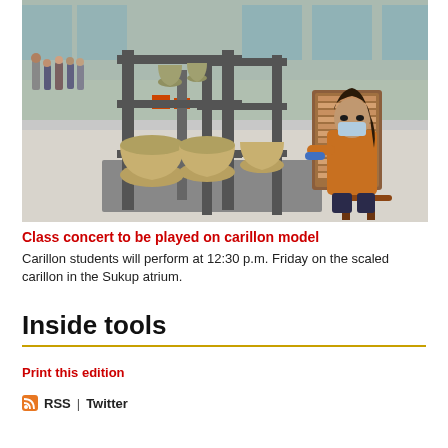[Figure (photo): A woman wearing a mask and blue gloves plays a scaled carillon model (multiple large bronze bells in a metal frame) inside a building atrium. Observers stand in the background.]
Class concert to be played on carillon model
Carillon students will perform at 12:30 p.m. Friday on the scaled carillon in the Sukup atrium.
Inside tools
Print this edition
RSS | Twitter